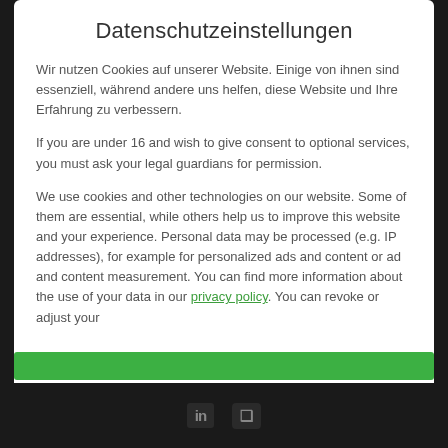Datenschutzeinstellungen
Wir nutzen Cookies auf unserer Website. Einige von ihnen sind essenziell, während andere uns helfen, diese Website und Ihre Erfahrung zu verbessern.
If you are under 16 and wish to give consent to optional services, you must ask your legal guardians for permission.
We use cookies and other technologies on our website. Some of them are essential, while others help us to improve this website and your experience. Personal data may be processed (e.g. IP addresses), for example for personalized ads and content or ad and content measurement. You can find more information about the use of your data in our privacy policy. You can revoke or adjust your
Essenziell
Externe Medien